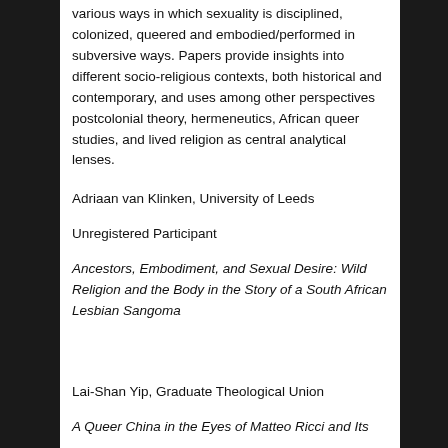various ways in which sexuality is disciplined, colonized, queered and embodied/performed in subversive ways. Papers provide insights into different socio-religious contexts, both historical and contemporary, and uses among other perspectives postcolonial theory, hermeneutics, African queer studies, and lived religion as central analytical lenses.
Adriaan van Klinken, University of Leeds
Unregistered Participant
Ancestors, Embodiment, and Sexual Desire: Wild Religion and the Body in the Story of a South African Lesbian Sangoma
Lai-Shan Yip, Graduate Theological Union
A Queer China in the Eyes of Matteo Ricci and Its